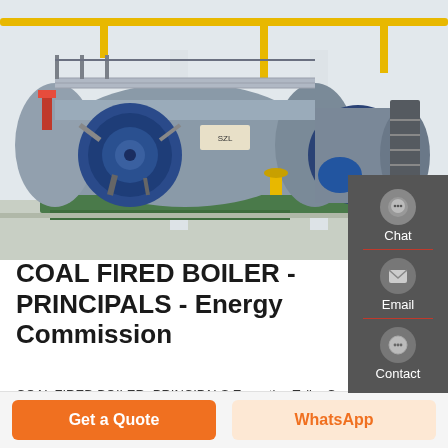[Figure (photo): Industrial coal fired boilers in a facility, showing large cylindrical steel boiler vessels with blue and grey coloring, yellow overhead piping, and green base structures. Two boilers visible in foreground and background.]
COAL FIRED BOILER - PRINCIPALS - Energy Commission
COAL FIRED BOILER -PRINCIPALS Executive Talk : Coal
Get a Quote
WhatsApp